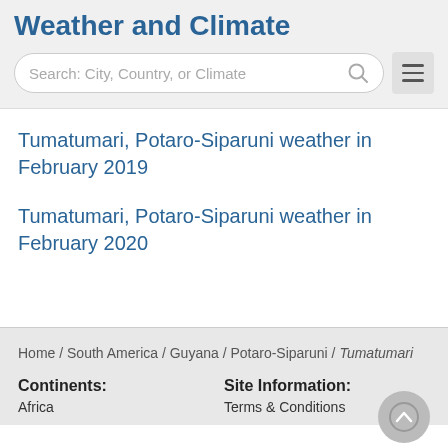Weather and Climate
[Figure (other): Search bar with text 'Search: City, Country, or Climate' and a hamburger menu button]
Tumatumari, Potaro-Siparuni weather in February 2019
Tumatumari, Potaro-Siparuni weather in February 2020
Home / South America / Guyana / Potaro-Siparuni / Tumatumari
Continents:
Site Information:
Africa
Terms & Conditions